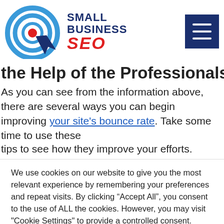[Figure (logo): Small Business SEO logo with target/cursor icon and red SEO text]
the Help of the Professionals
As you can see from the information above, there are several ways you can begin improving your site's bounce rate. Take some time to use these tips to see how they improve your efforts.
We use cookies on our website to give you the most relevant experience by remembering your preferences and repeat visits. By clicking “Accept All”, you consent to the use of ALL the cookies. However, you may visit "Cookie Settings" to provide a controlled consent.
Cookie Settings | Accept All